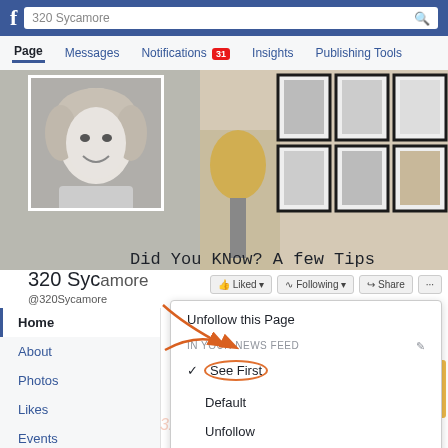[Figure (screenshot): Facebook page screenshot for '320 Sycamore' showing the page interface with profile photo, cover photo, navigation tabs (Page, Messages, Notifications 31, Insights, Publishing Tools), sidebar navigation (Home, About, Photos, Likes, Events, Videos, Instagram), a dropdown menu showing 'Following' options including 'Unfollow this Page', 'See First' (circled in orange), 'Default', 'Unfollow', and Notifications section. Orange arrows point to 'See First'. Overlay text reads 'Did You KNow? A few Tips'. Watermark '320 Sycamore' appears at bottom.]